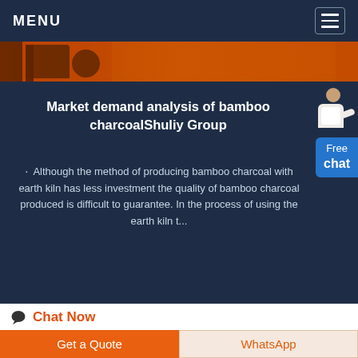MENU
[Figure (photo): Orange industrial machinery background image strip at top]
Market demand analysis of bamboo charcoalShuliy Group
· Although the method of producing bamboo charcoal with earth kiln has less investment the quality of bamboo charcoal produced is difficult to guarantee. In the process of using the earth kiln t...
Chat Now
[Figure (photo): Partial view of industrial machinery on light blue background]
Get a Quote
WhatsApp